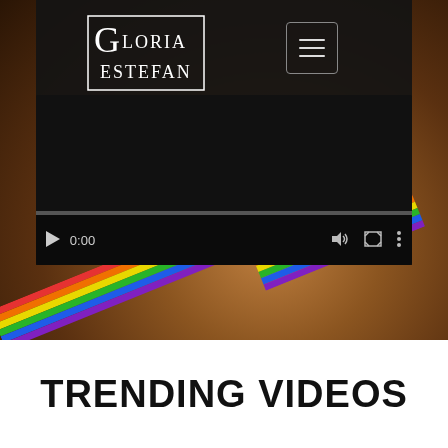[Figure (screenshot): Gloria Estefan website screenshot showing a video player with rainbow strap visible in background photo, navigation header with logo and hamburger menu, and trending videos section heading at bottom.]
TRENDING VIDEOS